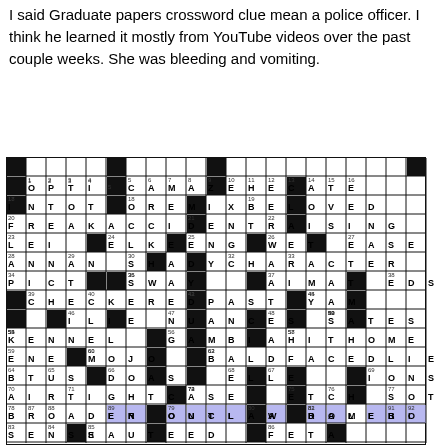I said Graduate papers crossword clue mean a police officer. I think he learned it mostly from YouTube videos over the past couple weeks. She was bleeding and vomiting.
[Figure (other): Crossword puzzle grid with filled answers including OPTIC, AMAZE, HECATE, INTOTO, REMIX, BELOVED, FREAKACCIDENT, RAISING, LEI, ELKE, ENG, WET, EASE, ANNAN, SHADYCHARACTER, PICT, SWAY, AIMAT, EDS, CHECKEREDPAST, YAM, ILIE, NUANCES, SATES, KENNEL, GAMBIA, HITHOME, ENE, MOJO, BALDFACEDLIE, BTUS, DOAS, ELLE, IONS, AIRTIGHTCASE, ETCH, SOT, BROADEN, OUTLAW, ROMERO, SENSE, SAUTEED, FETA, HAD, IRONCLADALABI, SCI, LISLE, ELAM, ZANY, HANDSOMEREWARD. Row 89 IRONCLADALABI is highlighted in blue/purple.]